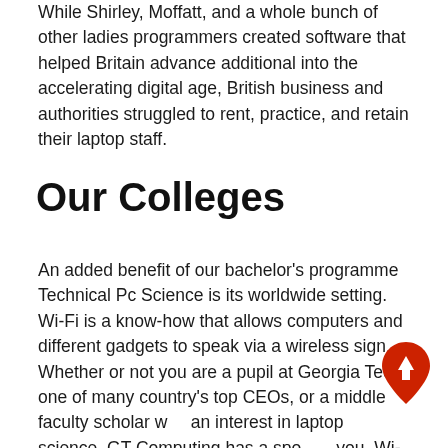While Shirley, Moffatt, and a whole bunch of other ladies programmers created software that helped Britain advance additional into the accelerating digital age, British business and authorities struggled to rent, practice, and retain their laptop staff.
Our Colleges
An added benefit of our bachelor's programme Technical Pc Science is its worldwide setting. Wi-Fi is a know-how that allows computers and different gadgets to speak via a wireless sign.
Whether or not you are a pupil at Georgia Tech, one of many country's top CEOs, or a middle faculty scholar with an interest in laptop science, GT Computing has a spot for you. Wi-Fi protected access (WPA) is a safety protocol used in wi-fi networks. Please learn the following sections on admissions necessities for utilized bachelors and affiliate
[Figure (other): Red scroll-to-top button shaped like a teardrop/location pin with an upward arrow inside]